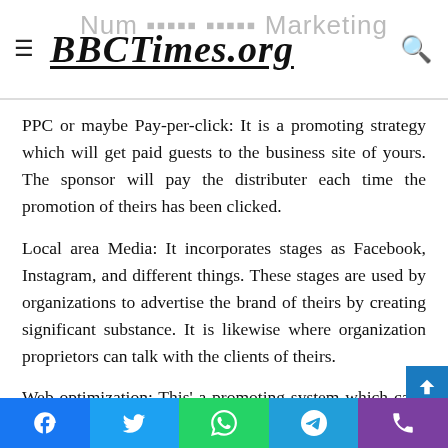BBCTimes.org
PPC or maybe Pay-per-click: It is a promoting strategy which will get paid guests to the business site of yours. The sponsor will pay the distributer each time the promotion of theirs has been clicked.
Local area Media: It incorporates stages as Facebook, Instagram, and different things. These stages are used by organizations to advertise the brand of theirs by creating significant substance. It is likewise where organization proprietors can talk with the clients of theirs.
Web optimization: This' a promoting system which calls for organizations to focus on further developing their locales positioning to build the guests of theirs. The more
Social share bar: Facebook, Twitter, WhatsApp, Telegram, Phone